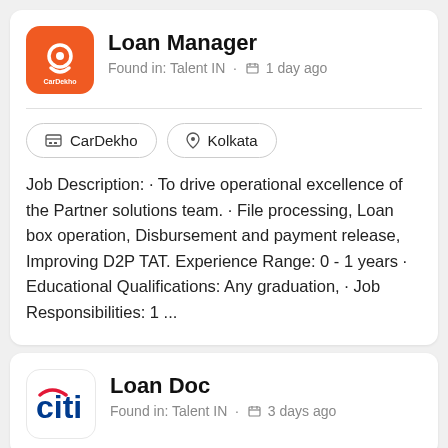Loan Manager
Found in: Talent IN · 1 day ago
CarDekho
Kolkata
Job Description: · To drive operational excellence of the Partner solutions team. · File processing, Loan box operation, Disbursement and payment release, Improving D2P TAT. Experience Range: 0 - 1 years · Educational Qualifications: Any graduation, · Job Responsibilities: 1 ...
Loan Doc
Found in: Talent IN · 3 days ago